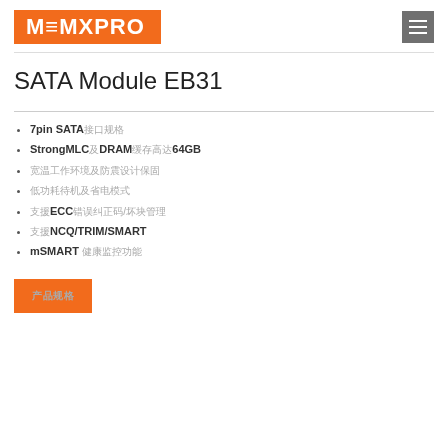MEMXPRO
SATA Module EB31
7pin SATA接口规格
StrongMLC及DRAM缓存高达64GB
宽温工作环境及防震设计保固
低功耗待机及省电模式
支援ECC错误纠正码/坏块管理
支援NCQ/TRIM/SMART
mSMART 健康监控功能
产品规格